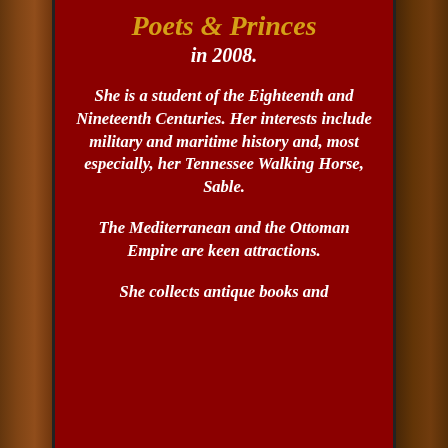Poets & Princes
in 2008.
She is a student of the Eighteenth and Nineteenth Centuries. Her interests include military and maritime history and, most especially, her Tennessee Walking Horse, Sable.
The Mediterranean and the Ottoman Empire are keen attractions.
She collects antique books and